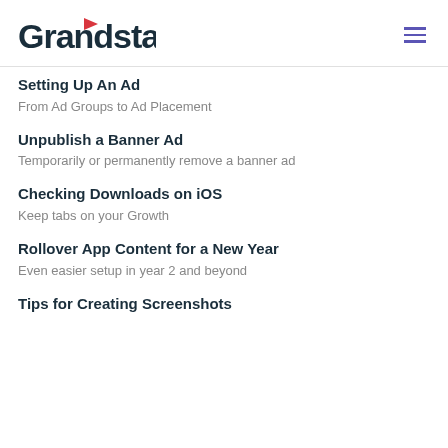Grandstand
Setting Up An Ad
From Ad Groups to Ad Placement
Unpublish a Banner Ad
Temporarily or permanently remove a banner ad
Checking Downloads on iOS
Keep tabs on your Growth
Rollover App Content for a New Year
Even easier setup in year 2 and beyond
Tips for Creating Screenshots